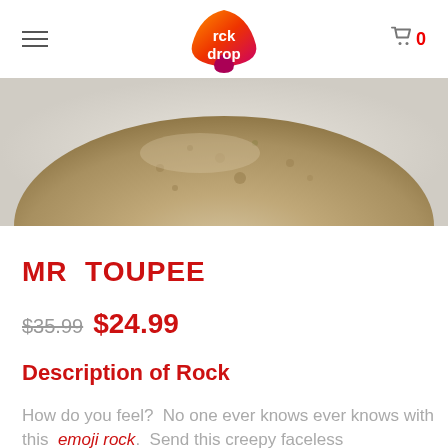rck drop
[Figure (photo): Close-up photo of a rounded beige/tan rock sitting on a light surface, viewed from above showing its textured surface.]
MR  TOUPEE
$35.99  $24.99
Description of Rock
How do you feel?  No one ever knows ever knows with this  emoji rock.  Send this creepy faceless